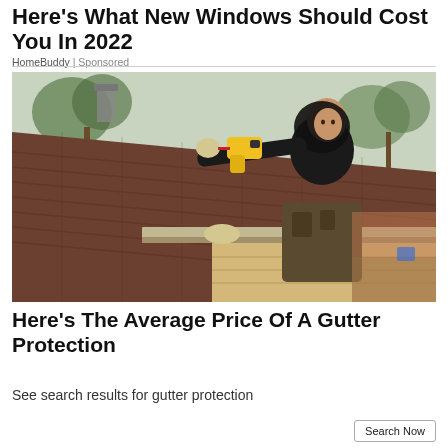Here's What New Windows Should Cost You In 2022
HomeBuddy | Sponsored
[Figure (photo): A worker in a black hoodie and work gloves installing or inspecting gutters on a residential roof with brown shingles. Trees visible in background.]
Here's The Average Price Of A Gutter Protection
See search results for gutter protection
Search Now